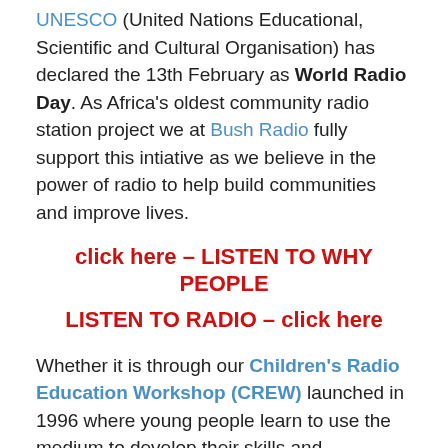UNESCO (United Nations Educational, Scientific and Cultural Organisation) has declared the 13th February as World Radio Day. As Africa's oldest community radio station project we at Bush Radio fully support this intiative as we believe in the power of radio to help build communities and improve lives.
click here – LISTEN TO WHY PEOPLE
LISTEN TO RADIO – click here
Whether it is through our Children's Radio Education Workshop (CREW) launched in 1996 where young people learn to use the medium to develop their skills and understanding of media or one of our programmes like Sakhisizwe – Bou die Nation, Build the Nation or even